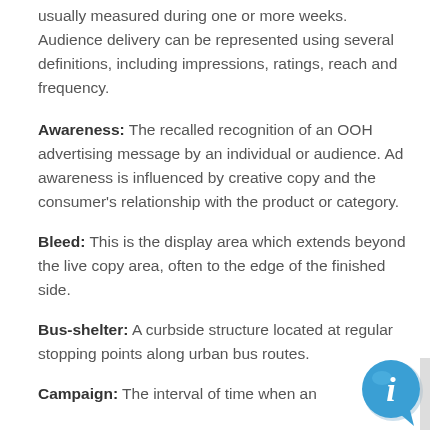usually measured during one or more weeks. Audience delivery can be represented using several definitions, including impressions, ratings, reach and frequency.
Awareness: The recalled recognition of an OOH advertising message by an individual or audience. Ad awareness is influenced by creative copy and the consumer's relationship with the product or category.
Bleed: This is the display area which extends beyond the live copy area, often to the edge of the finished side.
Bus-shelter: A curbside structure located at regular stopping points along urban bus routes.
Campaign: The interval of time when an
[Figure (illustration): Blue circular information icon with italic 'i' letter and speech bubble tail, positioned in bottom-right corner]